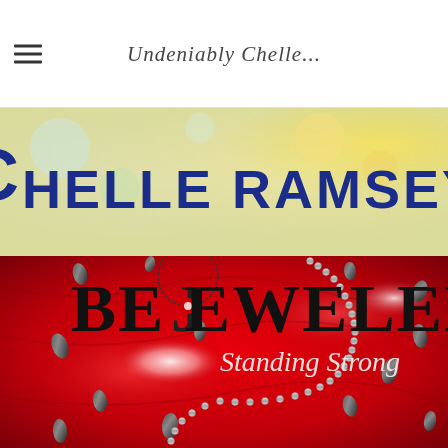Undeniably Chelle...
[Figure (illustration): Banner image with 'Chelle Ramsey' text in dark blue on a colorful watercolor-style background with bokeh lights]
[Figure (illustration): Book cover for 'Bejeweled: Standing Strong' by Chelle Ramsey - red satin background with silver bead chain necklace and dark gemstone drops, large stylized text 'BEJEWELED' with 'Standing Strong' in script underneath]